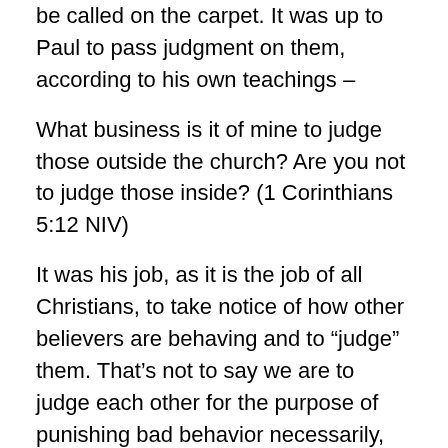be called on the carpet. It was up to Paul to pass judgment on them, according to his own teachings –
What business is it of mine to judge those outside the church? Are you not to judge those inside? (1 Corinthians 5:12 NIV)
It was his job, as it is the job of all Christians, to take notice of how other believers are behaving and to “judge” them. That’s not to say we are to judge each other for the purpose of punishing bad behavior necessarily, but for the purpose of encouraging good behavior and to restore those who have fallen into one sin or another. Peter wrote something similar to another church –
For the time is come that judgment must begin at the house of God: and if it first begin at us, what shall the end be of them that obey not the gospel of God? (1 Peter 4:17